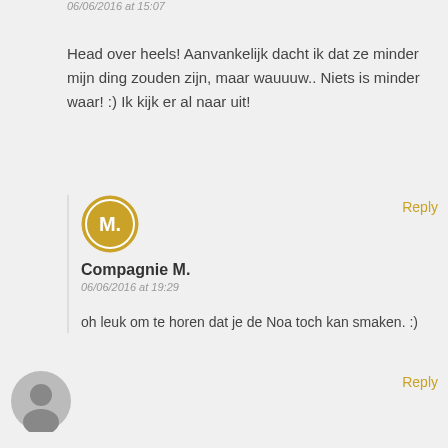06/06/2016 at 15:07
Head over heels! Aanvankelijk dacht ik dat ze minder mijn ding zouden zijn, maar wauuuw.. Niets is minder waar! :) Ik kijk er al naar uit!
Reply
Compagnie M.
06/06/2016 at 19:29
oh leuk om te horen dat je de Noa toch kan smaken. :)
Reply